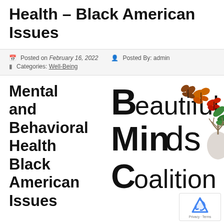Health – Black American Issues
Posted on February 16, 2022   Posted By: admin
Categories: Well-Being
Mental and Behavioral Health Black American Issues
[Figure (logo): Beautiful Minds Coalition logo with butterflies and a tree growing from a human head silhouette]